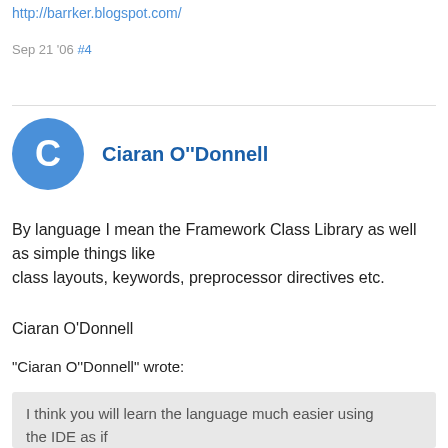http://barrker.blogspot.com/
Sep 21 '06 #4
Ciaran O''Donnell
By language I mean the Framework Class Library as well as simple things like class layouts, keywords, preprocessor directives etc.
Ciaran O'Donnell
"Ciaran O''Donnell" wrote:
I think you will learn the language much easier using the IDE as if